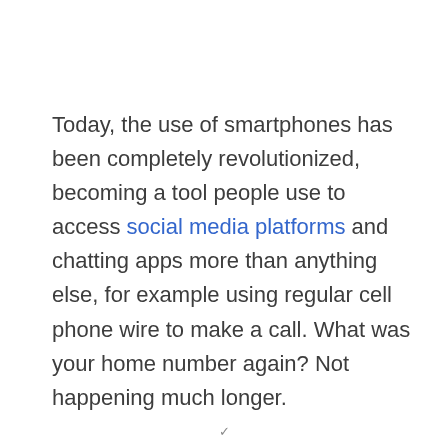Today, the use of smartphones has been completely revolutionized, becoming a tool people use to access social media platforms and chatting apps more than anything else, for example using regular cell phone wire to make a call. What was your home number again? Not happening much longer.
Sunlight Media can help you create or provide you